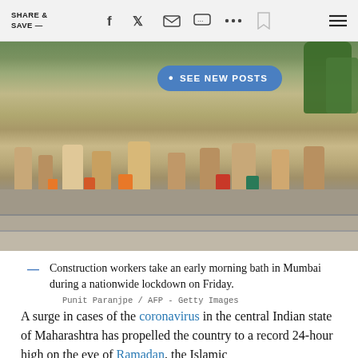SHARE & SAVE —
[Figure (photo): Construction workers bathing outdoors at a stone ghat/steps area in Mumbai, India. Multiple people visible washing clothes and bathing with buckets. A blue 'SEE NEW POSTS' button overlaid on the image.]
Construction workers take an early morning bath in Mumbai during a nationwide lockdown on Friday.
Punit Paranjpe / AFP - Getty Images
A surge in cases of the coronavirus in the central Indian state of Maharashtra has propelled the country to a record 24-hour high on the eve of Ramadan, the Islamic